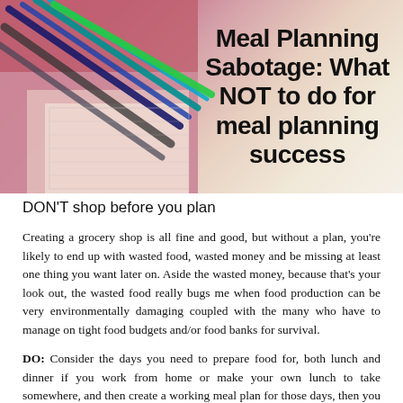[Figure (photo): Banner image showing pens and planners/notebooks on a desk with a pink/mauve background, with the article title overlaid on the right side]
Meal Planning Sabotage: What NOT to do for meal planning success
DON'T shop before you plan
Creating a grocery shop is all fine and good, but without a plan, you're likely to end up with wasted food, wasted money and be missing at least one thing you want later on. Aside the wasted money, because that's your look out, the wasted food really bugs me when food production can be very environmentally damaging coupled with the many who have to manage on tight food budgets and/or food banks for survival.
DO: Consider the days you need to prepare food for, both lunch and dinner if you work from home or make your own lunch to take somewhere, and then create a working meal plan for those days, then you can create a list for any ingredients you need. Don't forget